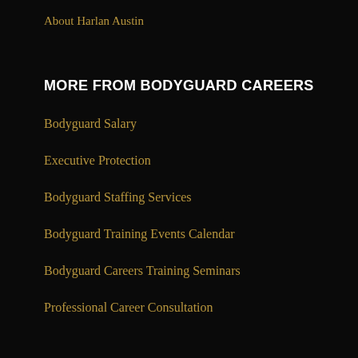About Harlan Austin
MORE FROM BODYGUARD CAREERS
Bodyguard Salary
Executive Protection
Bodyguard Staffing Services
Bodyguard Training Events Calendar
Bodyguard Careers Training Seminars
Professional Career Consultation